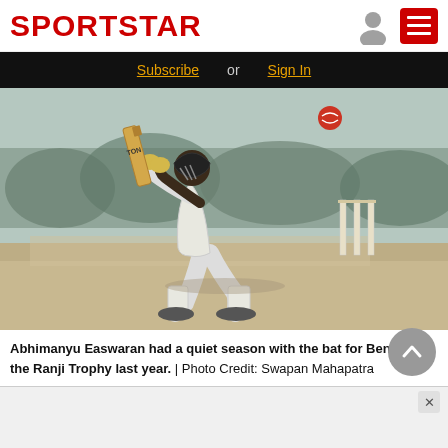SPORTSTAR
[Figure (photo): Cricket batsman in white uniform playing a shot, with stumps visible in background on a cricket ground]
Abhimanyu Easwaran had a quiet season with the bat for Bengal in the Ranji Trophy last year. | Photo Credit: Swapan Mahapatra